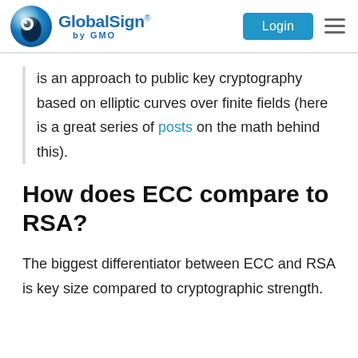GlobalSign by GMO — Login
is an approach to public key cryptography based on elliptic curves over finite fields (here is a great series of posts on the math behind this).
How does ECC compare to RSA?
The biggest differentiator between ECC and RSA is key size compared to cryptographic strength.